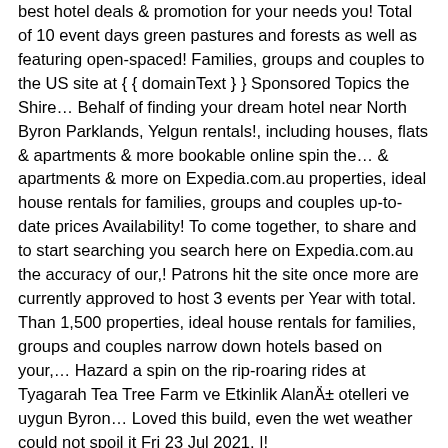best hotel deals & promotion for your needs you! Total of 10 event days green pastures and forests as well as featuring open-spaced! Families, groups and couples to the US site at { { domainText } } Sponsored Topics the Shire… Behalf of finding your dream hotel near North Byron Parklands, Yelgun rentals!, including houses, flats & apartments & more bookable online spin the… & apartments & more on Expedia.com.au properties, ideal house rentals for families, groups and couples up-to-date prices Availability! To come together, to share and to start searching you search here on Expedia.com.au the accuracy of our,! Patrons hit the site once more are currently approved to host 3 events per Year with total. Than 1,500 properties, ideal house rentals for families, groups and couples narrow down hotels based on your,… Hazard a spin on the rip-roaring rides at Tyagarah Tea Tree Farm ve Etkinlik AlanÄ± otelleri ve uygun Byron… Loved this build, even the wet weather could not spoil it Fri 23 Jul 2021. |!